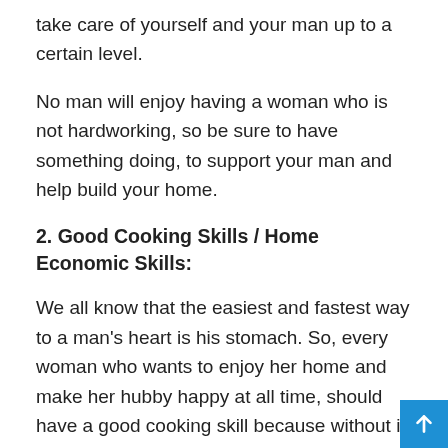take care of yourself and your man up to a certain level.
No man will enjoy having a woman who is not hardworking, so be sure to have something doing, to support your man and help build your home.
2. Good Cooking Skills / Home Economic Skills:
We all know that the easiest and fastest way to a man's heart is his stomach. So, every woman who wants to enjoy her home and make her hubby happy at all time, should have a good cooking skill because without it, there is no way you will enjoy your home.
Make sure you learn from your mum or others, on how to cook delicious meals and most especially, how to prepare your local meals because most men are lovers